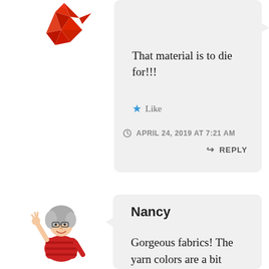[Figure (illustration): Red patchwork/origami style bird avatar icon]
Araignee
That material is to die for!!!
Like
APRIL 24, 2019 AT 7:21 AM
REPLY
[Figure (illustration): Cartoon illustration of an older woman with grey curly hair, glasses, waving, wearing a red striped shirt]
Nancy
Gorgeous fabrics! The yarn colors are a bit disappointing in the knit